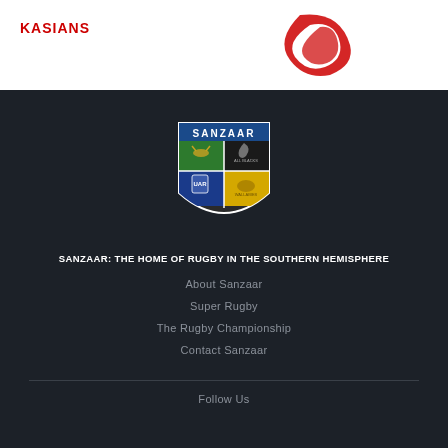[Figure (logo): Partial logos visible at top of page - text logo and circular red logo]
[Figure (logo): SANZAAR shield logo with four quadrants: green (Springbok), black (All Blacks fern), blue (UAR), yellow (Wallabies kangaroo), with SANZAAR text at top]
SANZAAR: THE HOME OF RUGBY IN THE SOUTHERN HEMISPHERE
About Sanzaar
Super Rugby
The Rugby Championship
Contact Sanzaar
Follow Us